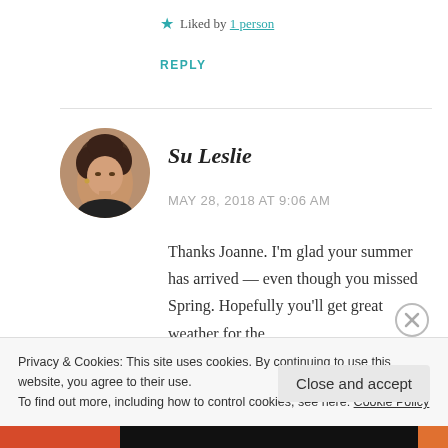★ Liked by 1 person
REPLY
[Figure (photo): Circular avatar photo of a woman with curly hair]
Su Leslie
MAY 28, 2018 AT 9:06 AM
Thanks Joanne. I'm glad your summer has arrived — even though you missed Spring. Hopefully you'll get great weather for the
Privacy & Cookies: This site uses cookies. By continuing to use this website, you agree to their use.
To find out more, including how to control cookies, see here: Cookie Policy
Close and accept